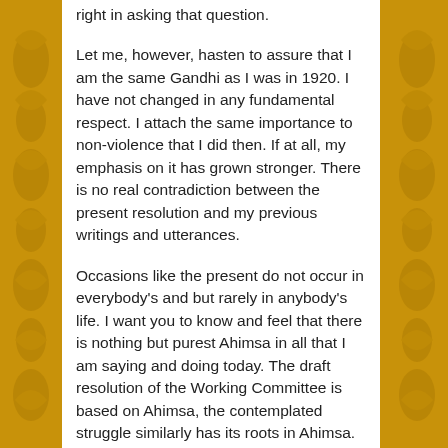right in asking that question.
Let me, however, hasten to assure that I am the same Gandhi as I was in 1920. I have not changed in any fundamental respect. I attach the same importance to non-violence that I did then. If at all, my emphasis on it has grown stronger. There is no real contradiction between the present resolution and my previous writings and utterances.
Occasions like the present do not occur in everybody's and but rarely in anybody's life. I want you to know and feel that there is nothing but purest Ahimsa in all that I am saying and doing today. The draft resolution of the Working Committee is based on Ahimsa, the contemplated struggle similarly has its roots in Ahimsa. If, therefore, there is any among you who has lost faith in Ahimsa or is wearied of it, let him not vote for this resolution. Let me explain my position clearly. God has vouchsafed to me a priceless gift in the weapon of Ahimsa. I and my Ahimsa are on our trail today. If in the present crisis, when the earth is being scorched by the